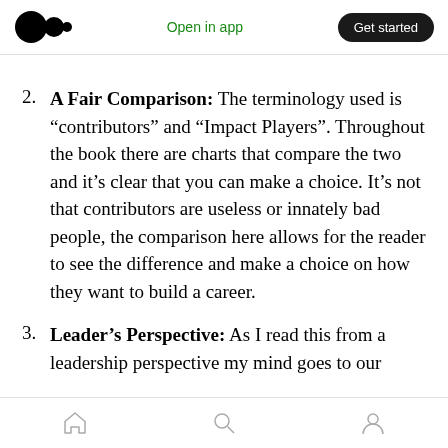Open in app | Get started
2. A Fair Comparison: The terminology used is “contributors” and “Impact Players”. Throughout the book there are charts that compare the two and it’s clear that you can make a choice. It’s not that contributors are useless or innately bad people, the comparison here allows for the reader to see the difference and make a choice on how they want to build a career.
3. Leader’s Perspective: As I read this from a leadership perspective my mind goes to our